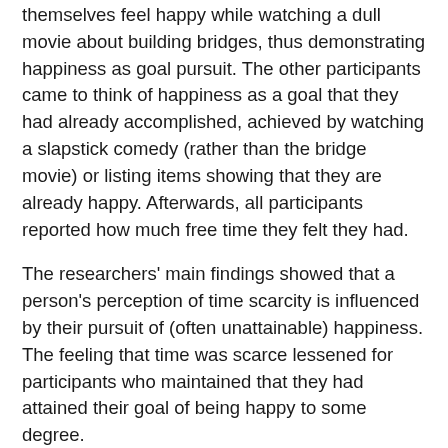themselves feel happy while watching a dull movie about building bridges, thus demonstrating happiness as goal pursuit. The other participants came to think of happiness as a goal that they had already accomplished, achieved by watching a slapstick comedy (rather than the bridge movie) or listing items showing that they are already happy. Afterwards, all participants reported how much free time they felt they had.
The researchers' main findings showed that a person's perception of time scarcity is influenced by their pursuit of (often unattainable) happiness. The feeling that time was scarce lessened for participants who maintained that they had attained their goal of being happy to some degree.
"Time seems to vanish amid the pursuit of happiness, but only when seen as a goal requiring continued pursuit," explain the researchers. "This finding adds depth to the growing body of work suggesting that the pursuit of happiness can ironically undermine well-being." According to the researchers, the findings imply that while happiness can impair positive emotions, it need not necessarily do so. Instead, if someone believes they have